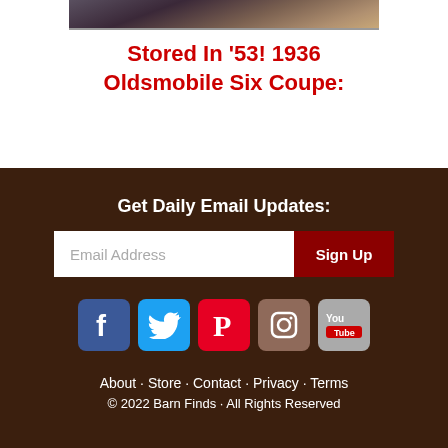[Figure (photo): Partial view of a 1936 Oldsmobile Six Coupe car]
Stored In ’53! 1936 Oldsmobile Six Coupe
Get Daily Email Updates:
Email Address
Sign Up
[Figure (logo): Social media icons: Facebook, Twitter, Pinterest, Instagram, YouTube]
About · Store · Contact · Privacy · Terms
© 2022 Barn Finds · All Rights Reserved